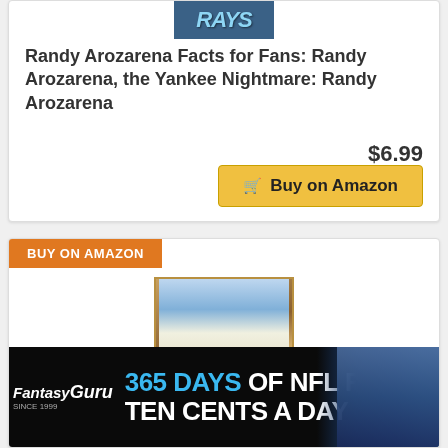[Figure (photo): Tampa Bay Rays baseball team logo/image at top of product card]
Randy Arozarena Facts for Fans: Randy Arozarena, the Yankee Nightmare: Randy Arozarena
$6.99
Buy on Amazon
BUY ON AMAZON
[Figure (photo): Baseball player wearing number 25 jersey, batting pose, appears to be a trading card image]
[Figure (photo): Fantasy Guru advertisement banner: 365 DAYS OF NFL FOR TEN CENTS A DAY with football players in background]